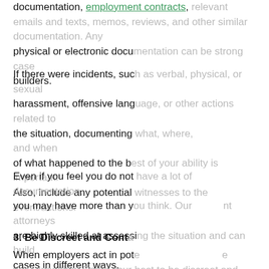documentation, employment contracts, relevant emails and texts, memos, reviews, and other similar documentation you physical or electronic documentation can be strong case builders.
If there were incidents, such as verbal, physical, or sexual harassment, offensive language, or other actions related to the situation, documenting what, where, and when of what happened to the best of your ability is important. Also, include any potential witnesses to the event/actions.
Even if you feel you do not have a lot of documentation, you may have more than you think. Our attorneys are highly skilled at assessing the situation and can build cases in different ways.
3. Be Discreet and Conta…
When employers act in pote… very upsetting. Doing your best to be discreet and contain
[Figure (screenshot): Chat widget overlay showing 'How can I help you?' header with emoji, a video play button, and radio button options: 'Wage & Hour', 'Employer Retaliation', 'Employment Discrimination']